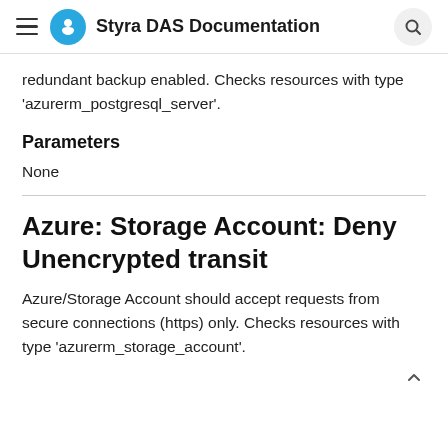Styra DAS Documentation
redundant backup enabled. Checks resources with type 'azurerm_postgresql_server'.
Parameters
None
Azure: Storage Account: Deny Unencrypted transit
Azure/Storage Account should accept requests from secure connections (https) only. Checks resources with type 'azurerm_storage_account'.